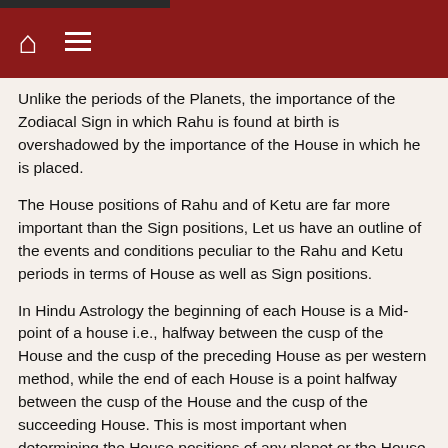Home / Menu navigation bar
Unlike the periods of the Planets, the importance of the Zodiacal Sign in which Rahu is found at birth is overshadowed by the importance of the House in which he is placed.
The House positions of Rahu and of Ketu are far more important than the Sign positions, Let us have an outline of the events and conditions peculiar to the Rahu and Ketu periods in terms of House as well as Sign positions.
In Hindu Astrology the beginning of each House is a Mid-point of a house i.e., halfway between the cusp of the House and the cusp of the preceding House as per western method, while the end of each House is a point halfway between the cusp of the House and the cusp of the succeeding House. This is most important when determining the House positions of any planet or the House positions of any significators in the Birth chart, such as Rahu and Ketu.